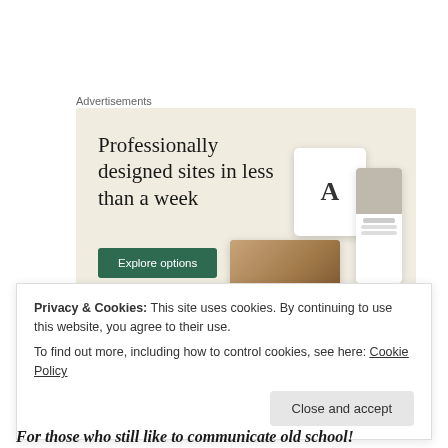Advertisements
[Figure (illustration): Advertisement banner with beige background showing text 'Professionally designed sites in less than a week', a green 'Explore options' button, and mockup website screenshots on the right.]
Privacy & Cookies: This site uses cookies. By continuing to use this website, you agree to their use.
To find out more, including how to control cookies, see here: Cookie Policy
Close and accept
For those who still like to communicate old school!